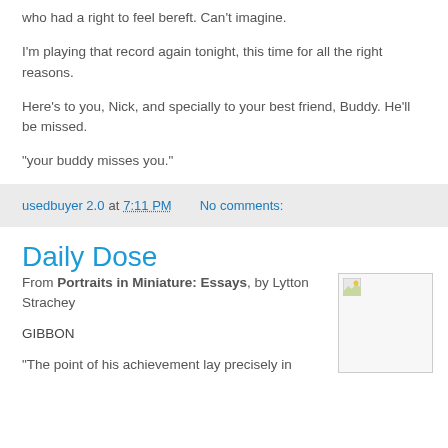who had a right to feel bereft. Can't imagine.
I'm playing that record again tonight, this time for all the right reasons.
Here's to you, Nick, and specially to your best friend, Buddy. He'll be missed.
"your buddy misses you."
usedbuyer 2.0 at 7:11 PM   No comments:
Daily Dose
From Portraits in Miniature: Essays, by Lytton Strachey
GIBBON
"The point of his achievement lay precisely in